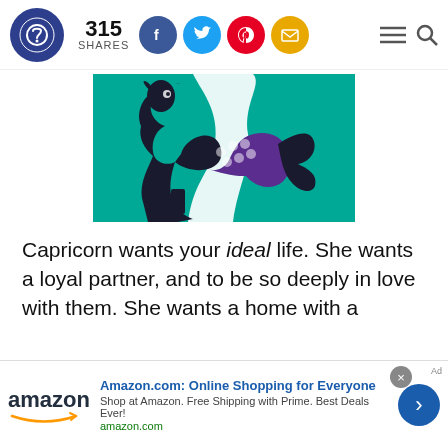315 SHARES
[Figure (illustration): Capricorn zodiac illustration: a dark navy/black sea-goat figure with a purple fish tail, set against a teal background]
Capricorn wants your ideal life. She wants a loyal partner, and to be so deeply in love with them. She wants a home with a